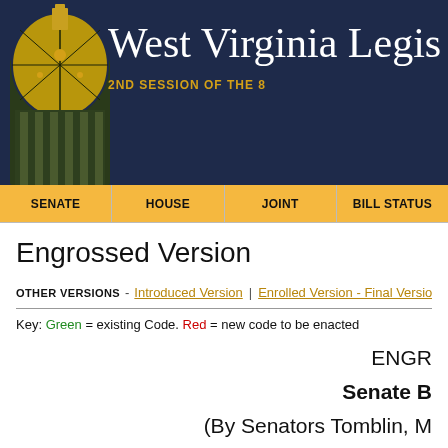West Virginia Legis - 2ND SESSION OF THE 8
SENATE | HOUSE | JOINT | BILL STATUS
Engrossed Version
OTHER VERSIONS - Introduced Version | Enrolled Version - Final Version |
Key: Green = existing Code. Red = new code to be enacted
ENGR
Senate B
(By Senators Tomblin, M
By Request o